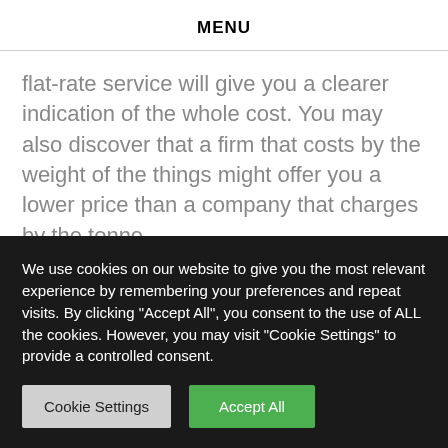MENU
flat-rate service will give you a clearer indication of the whole cost. You may also discover that a firm that costs by the weight of the things might offer you a lower price than a company that charges by the tonne.
The cost of a rubbish removal service varies
We use cookies on our website to give you the most relevant experience by remembering your preferences and repeat visits. By clicking "Accept All", you consent to the use of ALL the cookies. However, you may visit "Cookie Settings" to provide a controlled consent.